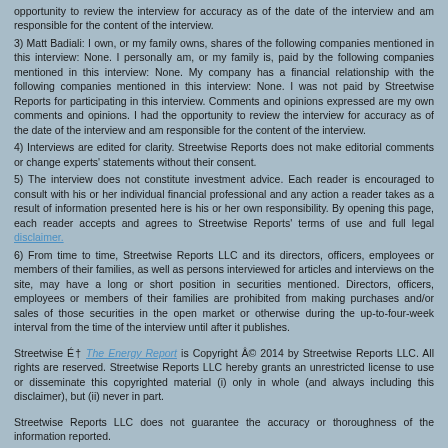opportunity to review the interview for accuracy as of the date of the interview and am responsible for the content of the interview.
3) Matt Badiali: I own, or my family owns, shares of the following companies mentioned in this interview: None. I personally am, or my family is, paid by the following companies mentioned in this interview: None. My company has a financial relationship with the following companies mentioned in this interview: None. I was not paid by Streetwise Reports for participating in this interview. Comments and opinions expressed are my own comments and opinions. I had the opportunity to review the interview for accuracy as of the date of the interview and am responsible for the content of the interview.
4) Interviews are edited for clarity. Streetwise Reports does not make editorial comments or change experts' statements without their consent.
5) The interview does not constitute investment advice. Each reader is encouraged to consult with his or her individual financial professional and any action a reader takes as a result of information presented here is his or her own responsibility. By opening this page, each reader accepts and agrees to Streetwise Reports' terms of use and full legal disclaimer.
6) From time to time, Streetwise Reports LLC and its directors, officers, employees or members of their families, as well as persons interviewed for articles and interviews on the site, may have a long or short position in securities mentioned. Directors, officers, employees or members of their families are prohibited from making purchases and/or sales of those securities in the open market or otherwise during the up-to-four-week interval from the time of the interview until after it publishes.
Streetwise É† The Energy Report is Copyright Â© 2014 by Streetwise Reports LLC. All rights are reserved. Streetwise Reports LLC hereby grants an unrestricted license to use or disseminate this copyrighted material (i) only in whole (and always including this disclaimer), but (ii) never in part.
Streetwise Reports LLC does not guarantee the accuracy or thoroughness of the information reported.
Streetwise Reports LLC receives a fee from companies that are listed on the home page in the In This Issue section. Their sponsor pages may be considered advertising for the purposes of 18 U.S.C. 1734.
Participating companies provide the logos used in The Energy Report. These logos are trademarks and are the property of their individual companies.